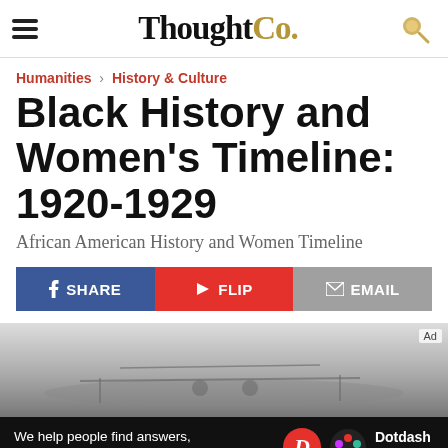ThoughtCo.
Humanities › History & Culture
Black History and Women's Timeline: 1920-1929
African American History and Women Timeline
SHARE | FLIP | EMAIL
[Figure (photo): Black and white historical photograph, appears to show an early aircraft or vehicle]
We help people find answers, solve problems and get inspired. Dotdash meredith